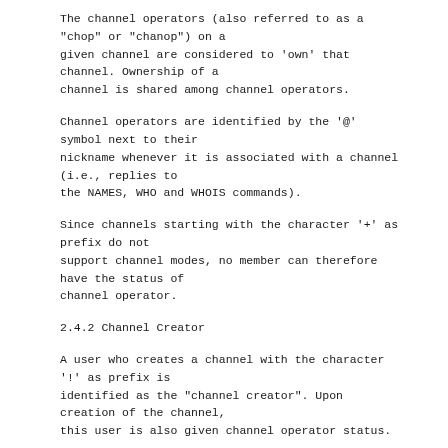The channel operators (also referred to as a "chop" or "chanop") on a given channel are considered to 'own' that channel. Ownership of a channel is shared among channel operators.
Channel operators are identified by the '@' symbol next to their nickname whenever it is associated with a channel (i.e., replies to the NAMES, WHO and WHOIS commands).
Since channels starting with the character '+' as prefix do not support channel modes, no member can therefore have the status of channel operator.
2.4.2 Channel Creator
A user who creates a channel with the character '!' as prefix is identified as the "channel creator". Upon creation of the channel, this user is also given channel operator status.
In recognition of this status, the channel creators are endowed with the ability to toggle certain modes of the channel which channel operators may not manipulate.